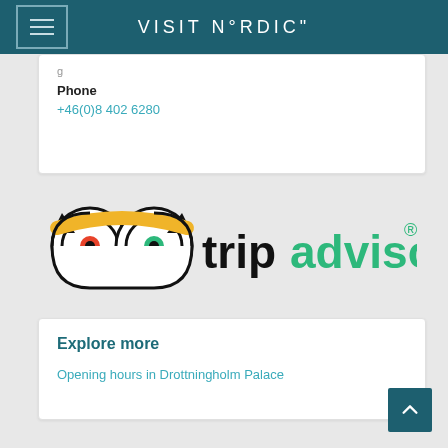VISIT N°RDIC"
Phone
+46(0)8 402 6280
[Figure (logo): TripAdvisor logo with owl icon and green/black text reading 'tripadvisor®']
Explore more
Opening hours in Drottningholm Palace